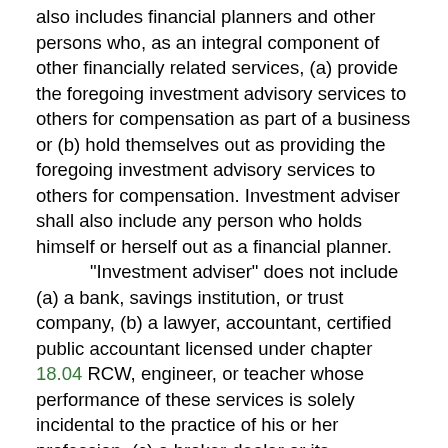also includes financial planners and other persons who, as an integral component of other financially related services, (a) provide the foregoing investment advisory services to others for compensation as part of a business or (b) hold themselves out as providing the foregoing investment advisory services to others for compensation. Investment adviser shall also include any person who holds himself or herself out as a financial planner. "Investment adviser" does not include (a) a bank, savings institution, or trust company, (b) a lawyer, accountant, certified public accountant licensed under chapter 18.04 RCW, engineer, or teacher whose performance of these services is solely incidental to the practice of his or her profession, (c) a broker-dealer or its salesperson whose performance of these services is solely incidental to the conduct of its business as a broker-dealer and who receives no special compensation for them, (d) a publisher of any bona fide newspaper, news magazine, news column, newsletter, or business or financial publication or service, whether communicated in hard copy form, by